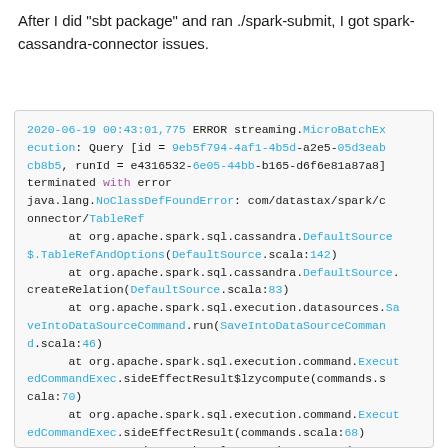After I did "sbt package" and ran ./spark-submit, I got spark-cassandra-connector issues.
2020-06-19 00:43:01,775 ERROR streaming.MicroBatchExecution: Query [id = 9eb5f794-4af1-4b5d-a2e5-05d3eabcb8b5, runId = e4316532-6e05-44bb-b165-d6f6e81a87a8] terminated with error java.lang.NoClassDefFoundError: com/datastax/spark/connector/TableRef
    at org.apache.spark.sql.cassandra.DefaultSource$.TableRefAndOptions(DefaultSource.scala:142)
    at org.apache.spark.sql.cassandra.DefaultSource.createRelation(DefaultSource.scala:83)
    at org.apache.spark.sql.execution.datasources.SaveIntoDataSourceCommand.run(SaveIntoDataSourceCommand.scala:46)
    at org.apache.spark.sql.execution.command.ExecutedCommandExec.sideEffectResult$lzycompute(commands.scala:70)
    at org.apache.spark.sql.execution.command.ExecutedCommandExec.sideEffectResult(commands.scala:68)
    at org.apache.spark.sql.execution.command.Execut